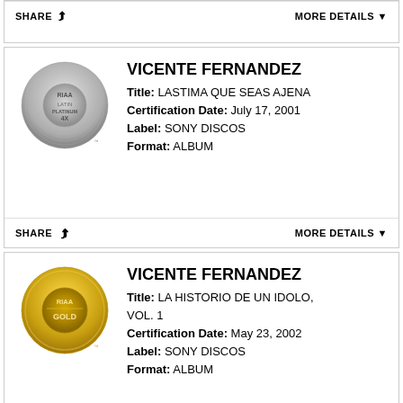SHARE   MORE DETAILS ▼
VICENTE FERNANDEZ
Title: LASTIMA QUE SEAS AJENA
Certification Date: July 17, 2001
Label: SONY DISCOS
Format: ALBUM
SHARE   MORE DETAILS ▼
VICENTE FERNANDEZ
Title: LA HISTORIO DE UN IDOLO, VOL. 1
Certification Date: May 23, 2002
Label: SONY DISCOS
Format: ALBUM